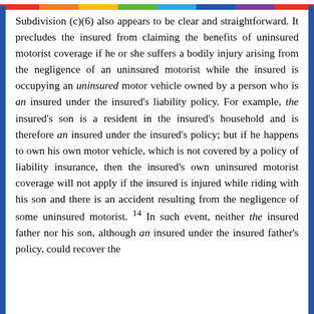Subdivision (c)(6) also appears to be clear and straightforward. It precludes the insured from claiming the benefits of uninsured motorist coverage if he or she suffers a bodily injury arising from the negligence of an uninsured motorist while the insured is occupying an uninsured motor vehicle owned by a person who is an insured under the insured's liability policy. For example, the insured's son is a resident in the insured's household and is therefore an insured under the insured's policy; but if he happens to own his own motor vehicle, which is not covered by a policy of liability insurance, then the insured's own uninsured motorist coverage will not apply if the insured is injured while riding with his son and there is an accident resulting from the negligence of some uninsured motorist. 14 In such event, neither the insured father nor his son, although an insured under the insured father's policy, could recover the